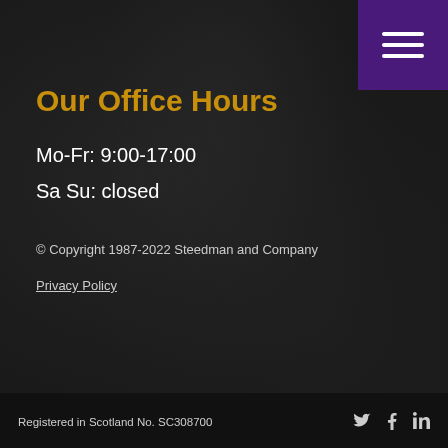[Figure (other): Purple hamburger menu button in top-right corner with three white horizontal lines]
Our Office Hours
Mo-Fr: 9:00-17:00
Sa Su: closed
© Copyright 1987-2022 Steedman and Company
Privacy Policy
Registered in Scotland No. SC308700